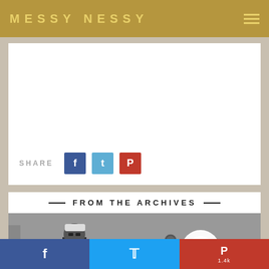MESSY NESSY
[Figure (screenshot): White content card area with share buttons for Facebook (F), Twitter (T), and Pinterest (P). Share label on left.]
FROM THE ARCHIVES
[Figure (photo): Black and white vintage photograph of a person wearing a white apron and cap with sunglasses, standing near equipment in what appears to be a studio or workshop setting with a bright light visible.]
Facebook share | Twitter share | Pinterest 1.4k